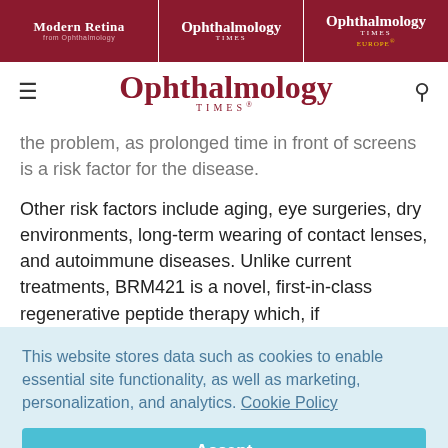Modern Retina | Ophthalmology | Ophthalmology EUROPE
[Figure (logo): Ophthalmology Times logo with hamburger menu and search icon]
the problem, as prolonged time in front of screens is a risk factor for the disease.
Other risk factors include aging, eye surgeries, dry environments, long-term wearing of contact lenses, and autoimmune diseases. Unlike current treatments, BRM421 is a novel, first-in-class regenerative peptide therapy which, if
This website stores data such as cookies to enable essential site functionality, as well as marketing, personalization, and analytics. Cookie Policy
Accept
Deny